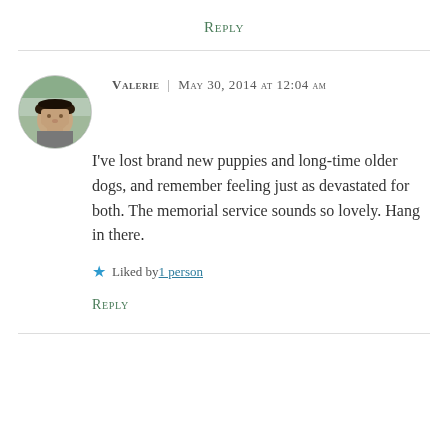Reply
[Figure (photo): Circular avatar photo of a woman wearing a dark hat, outdoors background]
Valerie | May 30, 2014 at 12:04 AM
I've lost brand new puppies and long-time older dogs, and remember feeling just as devastated for both. The memorial service sounds so lovely. Hang in there.
Liked by 1 person
Reply